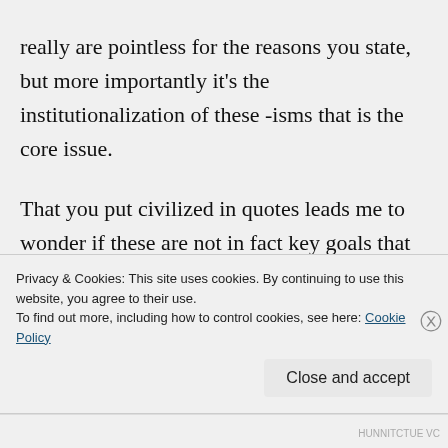really are pointless for the reasons you state, but more importantly it's the institutionalization of these -isms that is the core issue.

That you put civilized in quotes leads me to wonder if these are not in fact key goals that should exist in civilized society, to be aware of the racism is different than to be NOT racist. To be aware of racism is to be aware of the advantage one has at not
Privacy & Cookies: This site uses cookies. By continuing to use this website, you agree to their use.
To find out more, including how to control cookies, see here: Cookie Policy
HUNNITCTUE VC